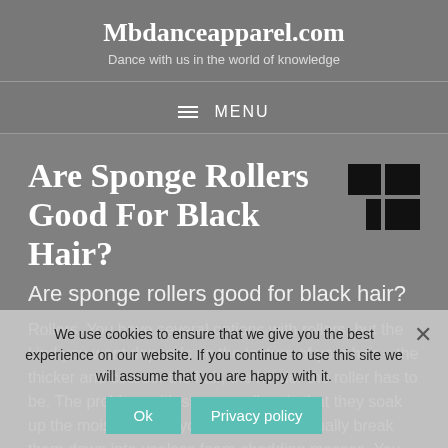Mbdanceapparel.com
Dance with us in the world of knowledge
MENU
Are Sponge Rollers Good For Black Hair?
Are sponge rollers good for black hair?
Rollers. You have several options with rollers, but the kind you want depends on the texture of your hair – the thicker and coarser the hair, the harder the roller has to be. The problem with sponge rollers is that they soak up the moisture from your hair and eventually break them down into useless foam-shedding messes. You dont wa...
We use cookies to ensure that we give you the best experience on our website. If you continue to use this site we will assume that you are happy with it.